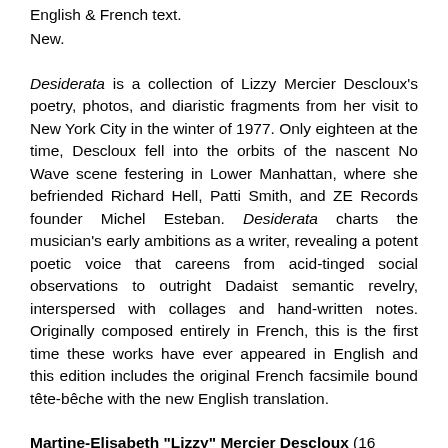English & French text.
New.
Desiderata is a collection of Lizzy Mercier Descloux's poetry, photos, and diaristic fragments from her visit to New York City in the winter of 1977. Only eighteen at the time, Descloux fell into the orbits of the nascent No Wave scene festering in Lower Manhattan, where she befriended Richard Hell, Patti Smith, and ZE Records founder Michel Esteban. Desiderata charts the musician's early ambitions as a writer, revealing a potent poetic voice that careens from acid-tinged social observations to outright Dadaist semantic revelry, interspersed with collages and hand-written notes. Originally composed entirely in French, this is the first time these works have ever appeared in English and this edition includes the original French facsimile bound tête-bêche with the new English translation.
Martine-Elisabeth "Lizzy" Mercier Descloux (16 December 1956 – 20 April 2004) was a French musician, singer-